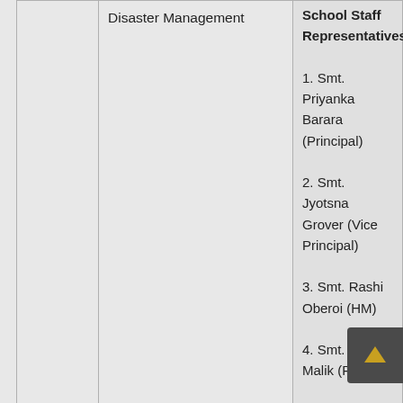|  | Disaster Management | School Staff Representatives |
| --- | --- | --- |
|  | Disaster Management | 1. Smt. Priyanka Barara (Principal)
2. Smt. Jyotsna Grover (Vice Principal)
3. Smt. Rashi Oberoi (HM)
4. Smt. Indu Malik (PGT)
5. Shri. Rahul Singhal (PGT)
6. Smt. Harshika Dhingra (SPSA AE) |